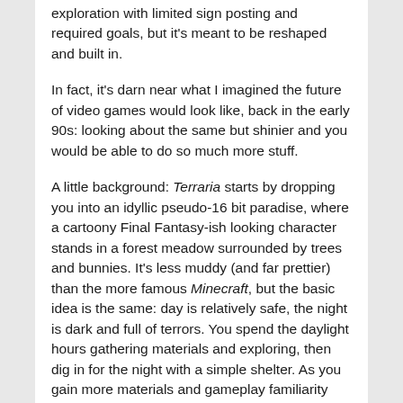exploration with limited sign posting and required goals, but it's meant to be reshaped and built in.
In fact, it's darn near what I imagined the future of video games would look like, back in the early 90s: looking about the same but shinier and you would be able to do so much more stuff.
A little background: Terraria starts by dropping you into an idyllic pseudo-16 bit paradise, where a cartoony Final Fantasy-ish looking character stands in a forest meadow surrounded by trees and bunnies. It's less muddy (and far prettier) than the more famous Minecraft, but the basic idea is the same: day is relatively safe, the night is dark and full of terrors. You spend the daylight hours gathering materials and exploring, then dig in for the night with a simple shelter. As you gain more materials and gameplay familiarity (there's